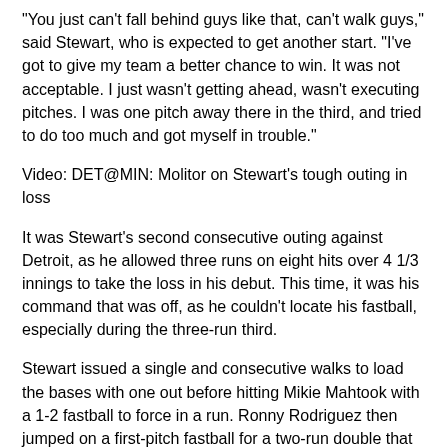"You just can't fall behind guys like that, can't walk guys," said Stewart, who is expected to get another start. "I've got to give my team a better chance to win. It was not acceptable. I just wasn't getting ahead, wasn't executing pitches. I was one pitch away there in the third, and tried to do too much and got myself in trouble."
Video: DET@MIN: Molitor on Stewart's tough outing in loss
It was Stewart's second consecutive outing against Detroit, as he allowed three runs on eight hits over 4 1/3 innings to take the loss in his debut. This time, it was his command that was off, as he couldn't locate his fastball, especially during the three-run third.
Stewart issued a single and consecutive walks to load the bases with one out before hitting Mikie Mahtook with a 1-2 fastball to force in a run. Ronny Rodriguez then jumped on a first-pitch fastball for a two-run double that knocked Stewart from the game.
"It's a learning experience. I just talked to him about, it's not so much executing [or] what you'....